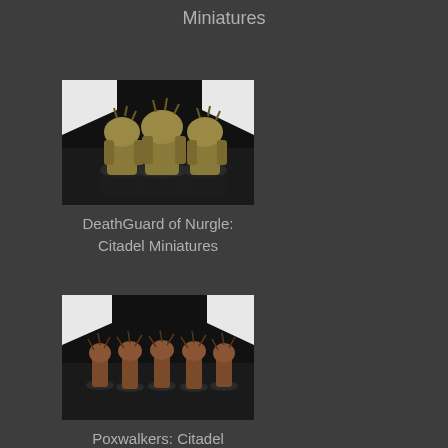Miniatures
[Figure (photo): Three Death Guard of Nurgle Citadel Miniatures painted in gold/brown tones on a dark background with white studio backdrop corners visible]
DeathGuard of Nurgle: Citadel Miniatures
[Figure (photo): Group of Poxwalkers Citadel Miniatures painted in brown/rust tones on a dark background with white studio backdrop corners visible]
Poxwalkers: Citadel Miniatures